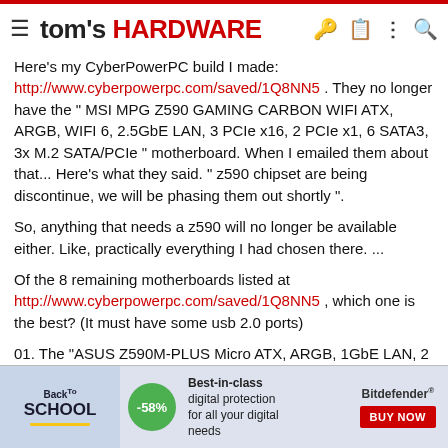tom's HARDWARE
Here's my CyberPowerPC build I made: http://www.cyberpowerpc.com/saved/1Q8NN5 . They no longer have the " MSI MPG Z590 GAMING CARBON WIFI ATX, ARGB, WIFI 6, 2.5GbE LAN, 3 PCIe x16, 2 PCIe x1, 6 SATA3, 3x M.2 SATA/PCIe " motherboard. When I emailed them about that... Here's what they said. " z590 chipset are being discontinue, we will be phasing them out shortly ".
So, anything that needs a z590 will no longer be available either. Like, practically everything I had chosen there. ...
Of the 8 remaining motherboards listed at http://www.cyberpowerpc.com/saved/1Q8NN5 , which one is the best? (It must have some usb 2.0 ports)
01. The "ASUS Z590M-PLUS Micro ATX, ARGB, 1GbE LAN, 2 PCIe x16, 2 PCIe x1, 5 SATA3, 3x M.2 SATA/PCIe"
[Figure (infographic): Back to School advertisement banner with -58% badge, Best-in-class digital protection text, and Bitdefender BUY NOW button]